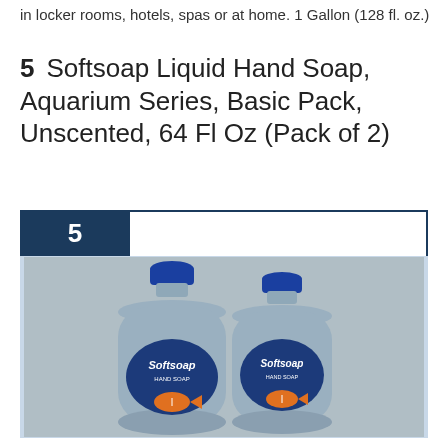in locker rooms, hotels, spas or at home. 1 Gallon (128 fl. oz.)
5   Softsoap Liquid Hand Soap, Aquarium Series, Basic Pack, Unscented, 64 Fl Oz (Pack of 2)
[Figure (photo): Two large Softsoap Aquarium Series Hand Soap bottles (64 fl oz each) with blue caps and labels featuring a clownfish/aquarium design, displayed inside a dark navy bordered box with a navy badge showing the number 5.]